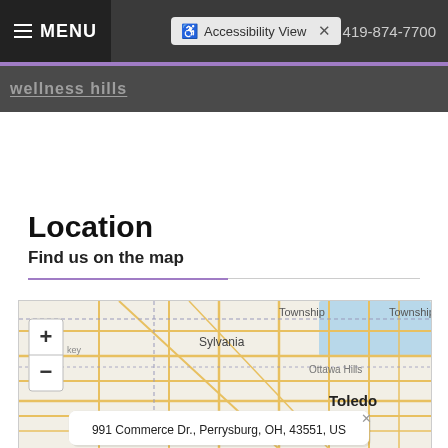MENU  ♿ Accessibility View ×  419-874-7700
wellness hills
Location
Find us on the map
[Figure (map): Interactive map showing the Toledo, Ohio area including Sylvania, Ottawa Hills, and surrounding townships. Map has zoom in/out controls on the left side.]
991 Commerce Dr., Perrysburg, OH, 43551, US